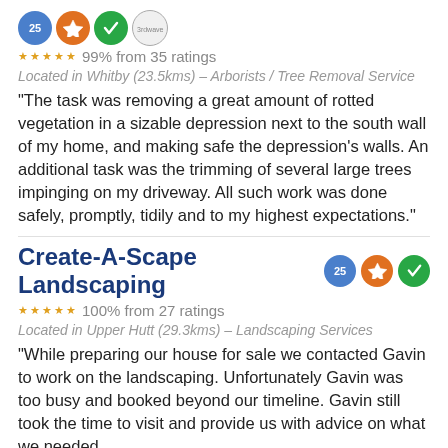[Figure (other): Row of four badge icons: blue shield with 25, orange crown, green checkmark, gray circle with text]
99% from 35 ratings
Located in Whitby (23.5kms) – Arborists / Tree Removal Service
"The task was removing a great amount of rotted vegetation in a sizable depression next to the south wall of my home, and making safe the depression's walls. An additional task was the trimming of several large trees impinging on my driveway. All such work was done safely, promptly, tidily and to my highest expectations."
Create-A-Scape Landscaping
[Figure (other): Row of three badge icons: blue shield with 25, orange crown, green checkmark]
100% from 27 ratings
Located in Upper Hutt (29.3kms) – Landscaping Services
"While preparing our house for sale we contacted Gavin to work on the landscaping. Unfortunately Gavin was too busy and booked beyond our timeline. Gavin still took the time to visit and provide us with advice on what we needed